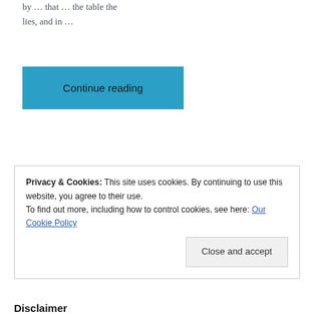by … and in …
Continue reading
Leave a comment
Privacy & Cookies: This site uses cookies. By continuing to use this website, you agree to their use. To find out more, including how to control cookies, see here: Our Cookie Policy
Close and accept
Disclaimer